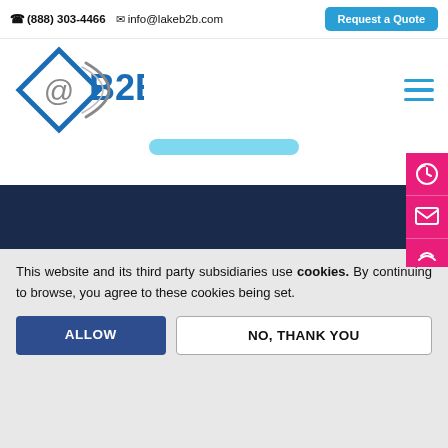☎(888) 303-4466  ✉ info@lakeb2b.com  Request a Quote
[Figure (logo): LakeB2B logo — blue diamond shape with @ symbol and B2B text with orbit arc]
This website and its third party subsidiaries use cookies. By continuing to browse, you agree to these cookies being set.
ALLOW | NO, THANK YOU